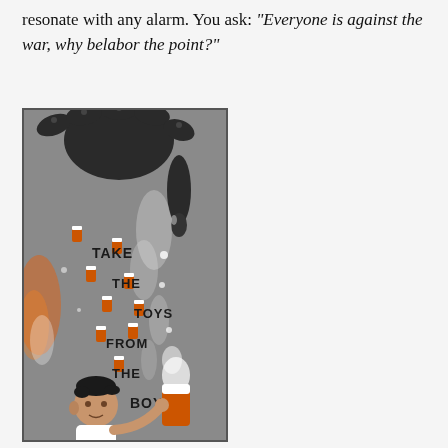resonate with any alarm. You ask: "Everyone is against the war, why belabor the point?"
[Figure (illustration): Illustration showing dark hand-like shapes at top dropping orange pill bottles, with text reading 'TAKE THE TOYS FROM THE BOYS' cascading down, and a child/baby figure at the bottom reaching for an orange pill bottle with smoke/steam coming from it. Background is grey.]